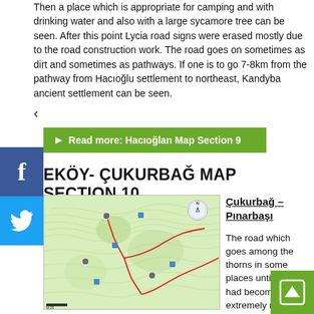couple of abandoned houses. Then a place which is appropriate for camping and with drinking water and also with a large sycamore tree can be seen. After this point Lycia road signs were erased mostly due to the road construction work. The road goes on sometimes as dirt and sometimes as pathways. If one is to go 7-8km from the pathway from Hacıoğlu settlement to northeast, Kandyba ancient settlement can be seen.
<
Read more: Hacıoğlan Map Section 9
EKÖY- ÇUKURBAĞ MAP SECTION 10
[Figure (map): Topographic trail map showing route through Çukurbağ-Pınarbaşı area with red marked trail path, contour lines, and location markers on green terrain]
Çukurbağ – Pınarbaşı
The road which goes among the thorns in some places until Phellos had become extremely nor... visible at some points due to the